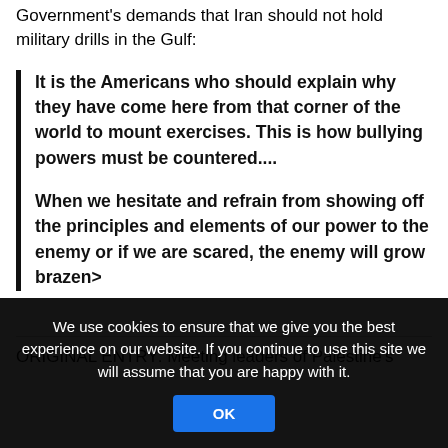Government's demands that Iran should not hold military drills in the Gulf:
It is the Americans who should explain why they have come here from that corner of the world to mount exercises. This is how bullying powers must be countered.... When we hesitate and refrain from showing off the principles and elements of our power to the enemy or if we are scared, the enemy will grow brazen>
ORIGINAL ENTRY: Meeting leaders of Palestine's
We use cookies to ensure that we give you the best experience on our website. If you continue to use this site we will assume that you are happy with it.
OK